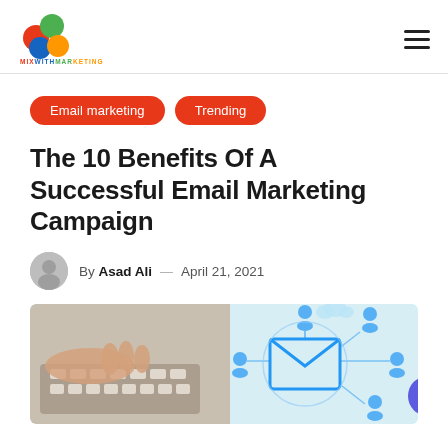MixWithMarketing logo and navigation
Email marketing  Trending
The 10 Benefits Of A Successful Email Marketing Campaign
By Asad Ali — April 21, 2021
[Figure (photo): Person typing on a keyboard with a digital email network graphic overlay showing an envelope icon connected to user profile icons]